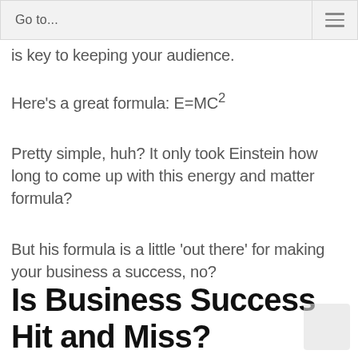is key to keeping your audience.
Here’s a great formula: E=MC²
Pretty simple, huh? It only took Einstein how long to come up with this energy and matter formula?
But his formula is a little ‘out there’ for making your business a success, no?
Is Business Success Hit and Miss?